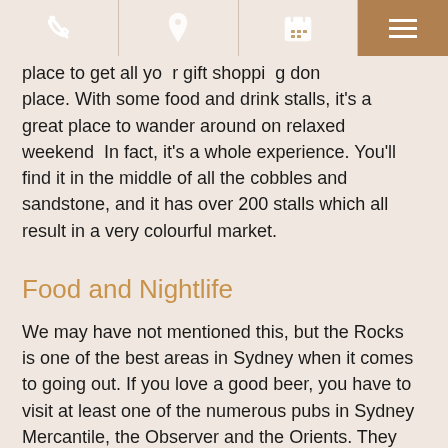[Navigation bar with phone, location, calendar icons and hamburger menu]
place to get all your gift shopping done place. With some food and drink stalls, it's a great place to wander around on relaxed weekend  In fact, it's a whole experience. You'll find it in the middle of all the cobbles and sandstone, and it has over 200 stalls which all result in a very colourful market.
Food and Nightlife
We may have not mentioned this, but the Rocks is one of the best areas in Sydney when it comes to going out. If you love a good beer, you have to visit at least one of the numerous pubs in Sydney Mercantile, the Observer and the Orients. They